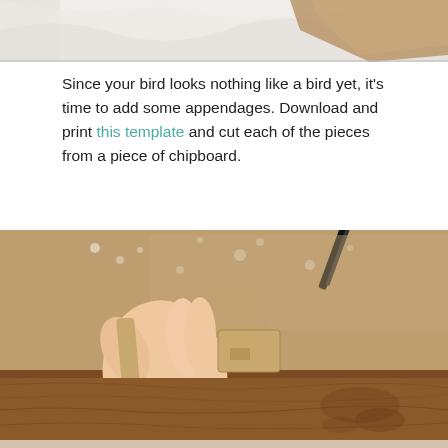[Figure (photo): Top portion of a photo showing white tissue paper and a brown cardboard piece on a light background]
Since your bird looks nothing like a bird yet, it's time to add some appendages. Download and print this template and cut each of the pieces from a piece of chipboard.
[Figure (photo): A hand holding a chipboard bird leg/foot piece cut from cardboard, with scissors visible on a brown paper background over a wooden surface]